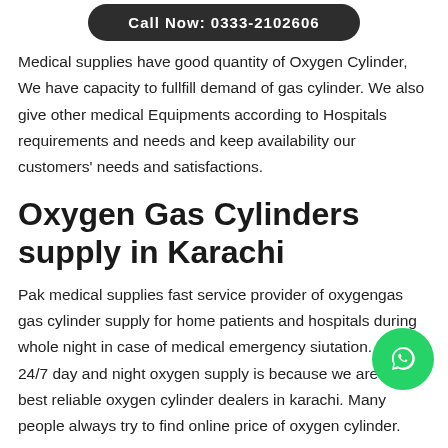[Figure (other): Dark rounded button with white text reading 'Call Now: 0333-2102606']
Medical supplies have good quantity of Oxygen Cylinder, We have capacity to fullfill demand of gas cylinder. We also give other medical Equipments according to Hospitals requirements and needs and keep availability our customers' needs and satisfactions.
Oxygen Gas Cylinders supply in Karachi
Pak medical supplies fast service provider of oxygengas gas cylinder supply for home patients and hospitals during whole night in case of medical emergency siutation. Our 24/7 day and night oxygen supply is because we are top best reliable oxygen cylinder dealers in karachi. Many people always try to find online price of oxygen cylinder.
medical Supplies proivde Emergency medical equipments
[Figure (logo): WhatsApp green circular button with phone icon]